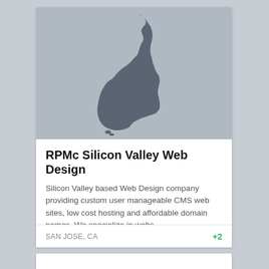[Figure (map): Silhouette map of the state of California in dark gray on a light gray background]
RPMc Silicon Valley Web Design
Silicon Valley based Web Design company providing custom user manageable CMS web sites, low cost hosting and affordable domain names. We specialize in webs...
SAN JOSE, CA
+2